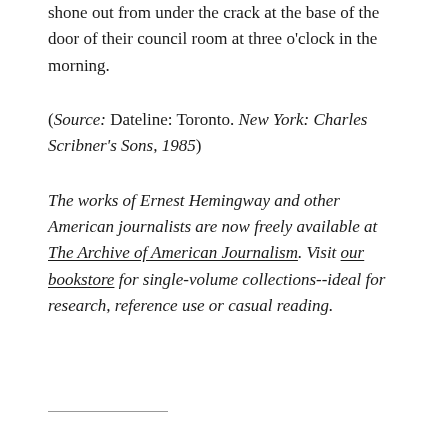shone out from under the crack at the base of the door of their council room at three o'clock in the morning.
(Source: Dateline: Toronto. New York: Charles Scribner's Sons, 1985)
The works of Ernest Hemingway and other American journalists are now freely available at The Archive of American Journalism. Visit our bookstore for single-volume collections--ideal for research, reference use or casual reading.